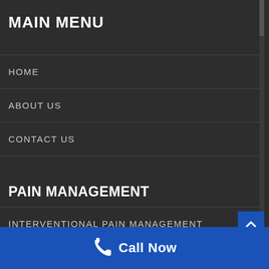MAIN MENU
HOME
ABOUT US
CONTACT US
PAIN MANAGEMENT
INTERVENTIONAL PAIN MANAGEMENT
PAIN & DEBILITATING CONDITIONS
NEUROMODULATION
Call Now